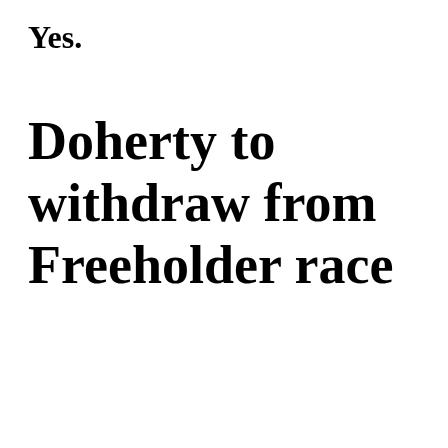Yes.
Doherty to withdraw from Freeholder race